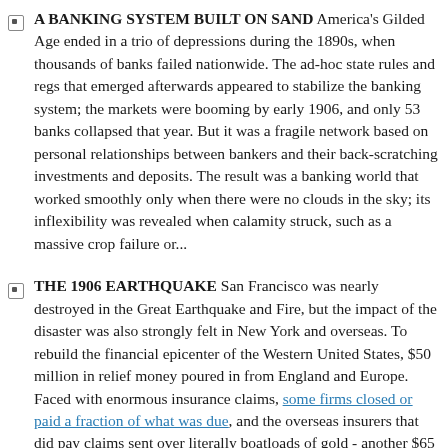A BANKING SYSTEM BUILT ON SAND America's Gilded Age ended in a trio of depressions during the 1890s, when thousands of banks failed nationwide. The ad-hoc state rules and regs that emerged afterwards appeared to stabilize the banking system; the markets were booming by early 1906, and only 53 banks collapsed that year. But it was a fragile network based on personal relationships between bankers and their back-scratching investments and deposits. The result was a banking world that worked smoothly only when there were no clouds in the sky; its inflexibility was revealed when calamity struck, such as a massive crop failure or...
THE 1906 EARTHQUAKE San Francisco was nearly destroyed in the Great Earthquake and Fire, but the impact of the disaster was also strongly felt in New York and overseas. To rebuild the financial epicenter of the Western United States, $50 million in relief money poured in from England and Europe. Faced with enormous insurance claims, some firms closed or paid a fraction of what was due, and the overseas insurers that did pay claims sent over literally boatloads of gold - another $65 million in bullion between April and September 1906 was shipped to America as cargo aboard regular passenger ships. (Attention Hollywood: Let's have lunch to discuss